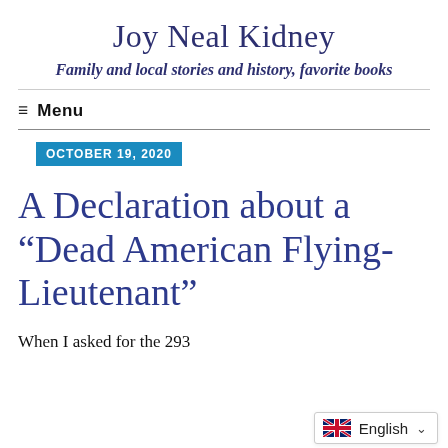Joy Neal Kidney
Family and local stories and history, favorite books
≡  Menu
OCTOBER 19, 2020
A Declaration about a “Dead American Flying-Lieutenant”
When I asked for the 293 (